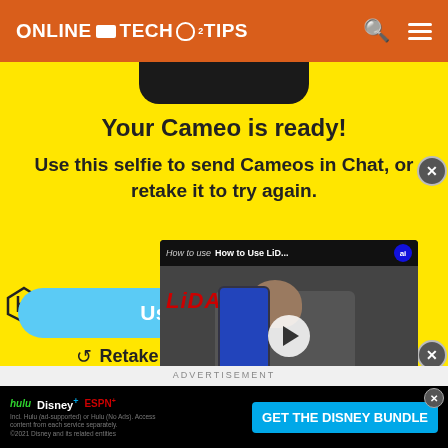ONLINE TECH TIPS
[Figure (screenshot): Yellow screen showing 'Your Cameo is ready!' with selfie use instructions, a Use this selfie button, Retake Selfie option, an embedded video overlay showing 'How to Use LiD... LiDAR' with play button, and a Disney+ advertisement banner at the bottom.]
Your Cameo is ready!
Use this selfie to send Cameos in Chat, or retake it to try again.
Use this
Retake Selfie
ADVERTISEMENT
You can change your Cameo selfie in Settings...
[Figure (screenshot): Disney bundle advertisement banner with Hulu, Disney+, ESPN+ logos and 'GET THE DISNEY BUNDLE' call-to-action button. Fine print: Incl. Hulu (ad-supported) or Hulu (No Ads). Access content from each service separately. ©2021 Disney and its related entities]